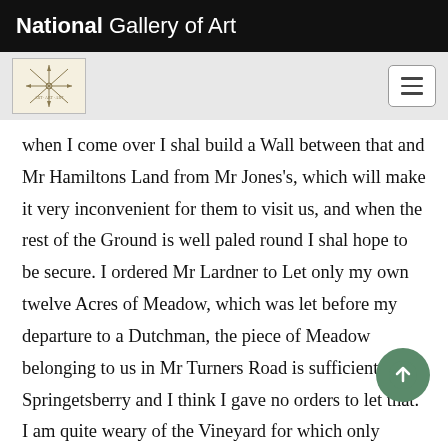National Gallery of Art
when I come over I shal build a Wall between that and Mr Hamiltons Land from Mr Jones's, which will make it very inconvenient for them to visit us, and when the rest of the Ground is well paled round I shal hope to be secure. I ordered Mr Lardner to Let only my own twelve Acres of Meadow, which was let before my departure to a Dutchman, the piece of Meadow belonging to us in Mr Turners Road is sufficient for Springetsberry and I think I gave no orders to let that. I am quite weary of the Vineyard for which only Jacob is kept at £35 a year but your last Letter gives mee some hopes that it may r some thing, if that does not succeed when I come ov shal much lessen it. I shal consent to their cutting down